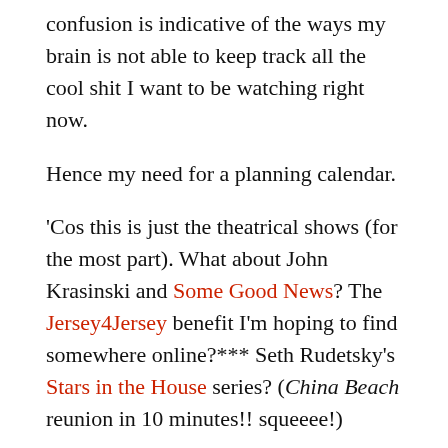confusion is indicative of the ways my brain is not able to keep track all the cool shit I want to be watching right now.
Hence my need for a planning calendar.
'Cos this is just the theatrical shows (for the most part). What about John Krasinski and Some Good News? The Jersey4Jersey benefit I'm hoping to find somewhere online?*** Seth Rudetsky's Stars in the House series? (China Beach reunion in 10 minutes!! squeeee!)
I suppose if periodic bouts of pandemic brain are going to lessen my capacity for other endeavors and, instead, raise my screen time, I might as well do so when there's